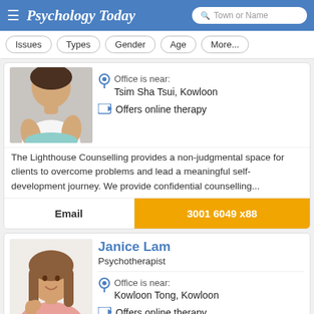Psychology Today — Town or Name search
Issues
Types
Gender
Age
More...
Office is near: Tsim Sha Tsui, Kowloon
Offers online therapy
The Lighthouse Counselling provides a non-judgmental space for clients to overcome problems and lead a meaningful self-development journey. We provide confidential counselling...
Email
3001 6049 x88
Janice Lam
Psychotherapist
Office is near: Kowloon Tong, Kowloon
Offers online therapy